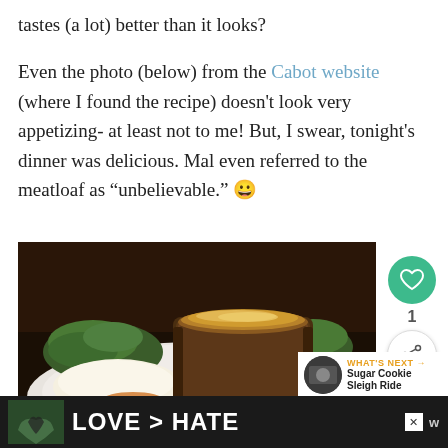tastes (a lot) better than it looks?
Even the photo (below) from the Cabot website (where I found the recipe) doesn't look very appetizing- at least not to me! But, I swear, tonight's dinner was delicious. Mal even referred to the meatloaf as “unbelievable.” 😀
[Figure (photo): A plated slice of meatloaf with melted cheese on top, served with mashed potatoes and green herbs/salad on a white plate, dark background]
[Figure (screenshot): UI sidebar showing a heart/like button in teal, like count of 1, and a share button]
[Figure (screenshot): What's Next thumbnail preview showing Sugar Cookie Sleigh Ride]
[Figure (screenshot): Advertisement banner: LOVE > HATE with hands forming a heart shape]